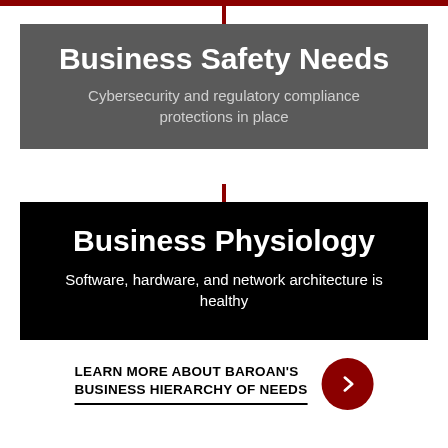Business Safety Needs
Cybersecurity and regulatory compliance protections in place
Business Physiology
Software, hardware, and network architecture is healthy
LEARN MORE ABOUT BAROAN'S BUSINESS HIERARCHY OF NEEDS